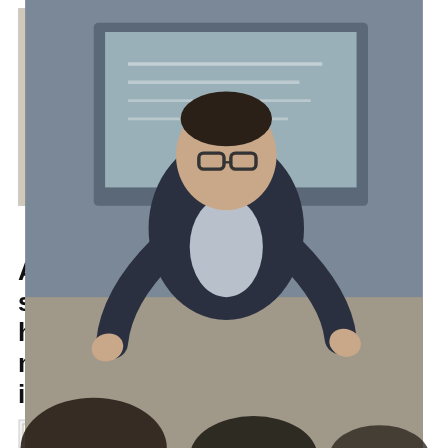[Figure (photo): A man in a blazer presenting or lecturing in front of a chalkboard/screen, with audience heads visible in the foreground.]
A study shows that facial emotions people with autism (ASD). Published in Psychiatry, the joint University of T... study dismantles some beliefs about with ASD and opens up new scen... life. With machine learning, a repr... models that each...
Alessandra Cervone has successfully defended her PhD on “Computational models... in open-domain dialogue”
Posted by admin on Nov 2, 2020 in News, News-home-page | 0 commen...
Congratulations Dr. Cervone!